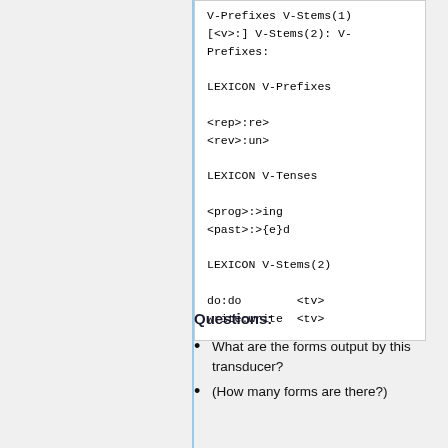V-Prefixes V-Stems(1)
[<v>:] V-Stems(2): V-Prefixes:

LEXICON V-Prefixes

<rep>:re>
<rev>:un>

LEXICON V-Tenses

<prog>:>ing
<past>:>{e}d

LEXICON V-Stems(2)

do:do        <tv>
write:write  <tv>
Questions:
What are the forms output by this transducer?
(How many forms are there?)